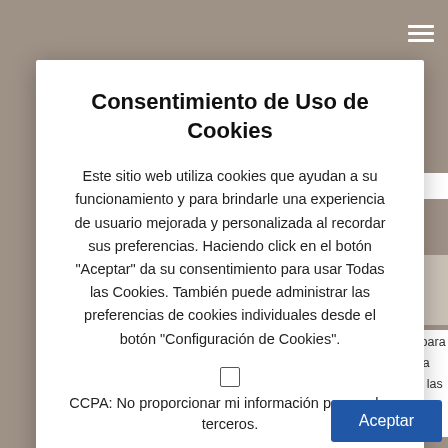[Figure (screenshot): Website background with tan/taupe color and hamburger menu icon in top right corner, with partially visible web content text on the right side]
Consentimiento de Uso de Cookies
Este sitio web utiliza cookies que ayudan a su funcionamiento y para brindarle una experiencia de usuario mejorada y personalizada al recordar sus preferencias. Haciendo click en el botón "Aceptar" da su consentimiento para usar Todas las Cookies. También puede administrar las preferencias de cookies individuales desde el botón "Configuración de Cookies".
CCPA: No proporcionar mi información personal a terceros.
.